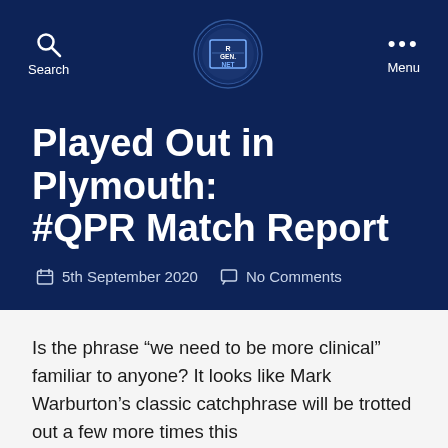Search | RGEN.NET | Menu
Played Out in Plymouth: #QPR Match Report
5th September 2020   No Comments
Is the phrase “we need to be more clinical” familiar to anyone? It looks like Mark Warburton’s classic catchphrase will be trotted out a few more times this